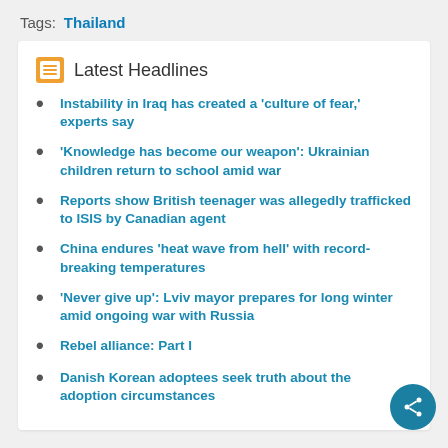Tags: Thailand
Latest Headlines
Instability in Iraq has created a 'culture of fear,' experts say
'Knowledge has become our weapon': Ukrainian children return to school amid war
Reports show British teenager was allegedly trafficked to ISIS by Canadian agent
China endures 'heat wave from hell' with record-breaking temperatures
'Never give up': Lviv mayor prepares for long winter amid ongoing war with Russia
Rebel alliance: Part I
Danish Korean adoptees seek truth about their adoption circumstances